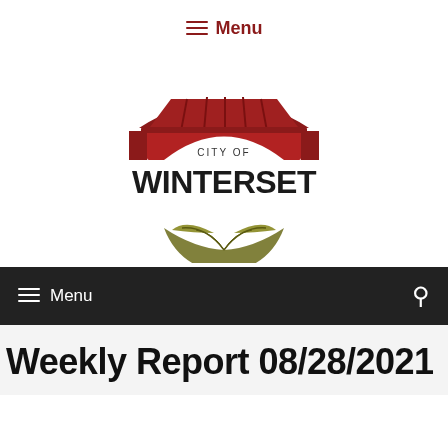≡ Menu
[Figure (logo): City of Winterset logo featuring a red covered bridge at the top, bold text 'CITY OF WINTERSET' in the middle, and an olive green leaf/bowl emblem at the bottom.]
≡ Menu
Weekly Report 08/28/2021